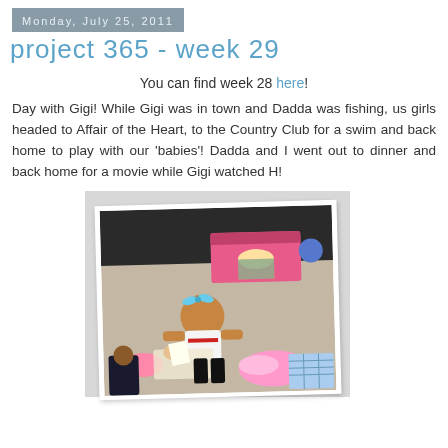Monday, July 25, 2011
project 365 - week 29
You can find week 28 here!
Day with Gigi! While Gigi was in town and Dadda was fishing, us girls headed to Affair of the Heart, to the Country Club for a swim and back home to play with our 'babies'! Dadda and I went out to dinner and back home for a movie while Gigi watched H!
[Figure (photo): Young girl in dress with blue bow in hair, sitting among dolls and toys on the floor next to a pink toy bed with a Snow White doll inside]